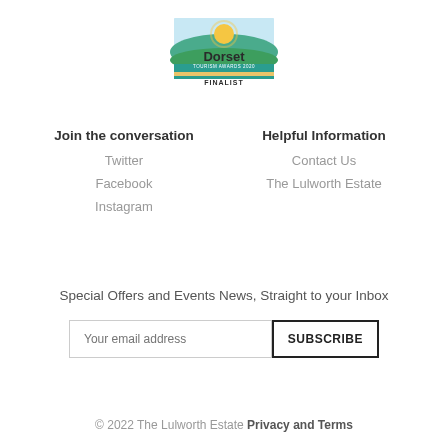[Figure (logo): Dorset Tourism Awards 2020 Finalist logo with landscape sunrise graphic and teal/gold banner]
Join the conversation
Twitter
Facebook
Instagram
Helpful Information
Contact Us
The Lulworth Estate
Special Offers and Events News, Straight to your Inbox
© 2022 The Lulworth Estate Privacy and Terms